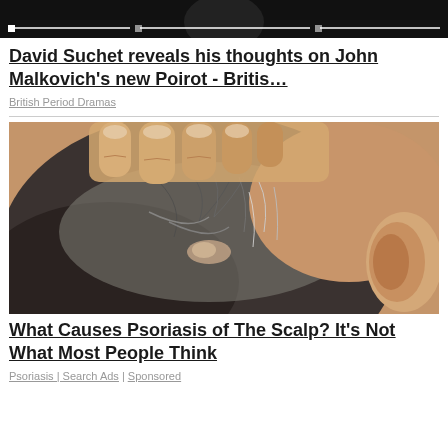[Figure (screenshot): Top portion of a video player with dark background and progress/chapter indicators at bottom]
David Suchet reveals his thoughts on John Malkovich's new Poirot - Britis…
British Period Dramas
[Figure (photo): Close-up photo of a person scratching/touching the back of their scalp showing grey hair and skin condition (psoriasis)]
What Causes Psoriasis of The Scalp? It's Not What Most People Think
Psoriasis | Search Ads | Sponsored